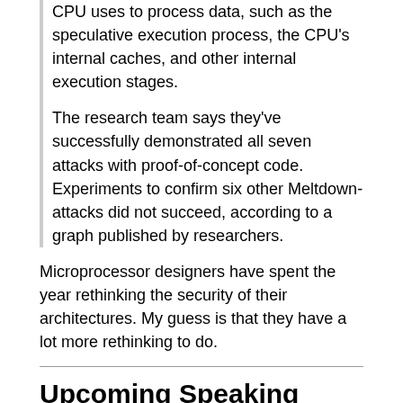CPU uses to process data, such as the speculative execution process, the CPU's internal caches, and other internal execution stages.
The research team says they've successfully demonstrated all seven attacks with proof-of-concept code. Experiments to confirm six other Meltdown-attacks did not succeed, according to a graph published by researchers.
Microprocessor designers have spent the year rethinking the security of their architectures. My guess is that they have a lot more rethinking to do.
Upcoming Speaking Engagements
[2018.11.14] This is a current list of where and when I am scheduled to speak:
I'm speaking at Kiwicon in Wellington, New Zealand on November 16, 2018.
I'm appearing on IBM Resilient's End of Year Review webinar on "The Top Cyber Security Trends in 2018